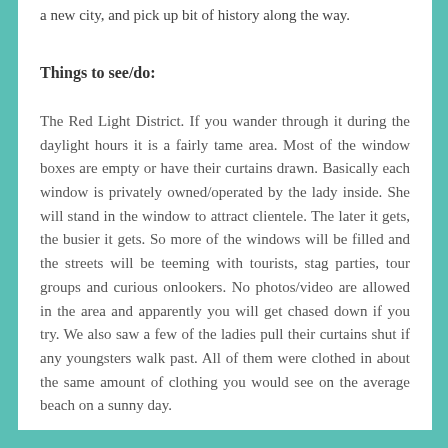a new city, and pick up bit of history along the way.
Things to see/do:
The Red Light District. If you wander through it during the daylight hours it is a fairly tame area. Most of the window boxes are empty or have their curtains drawn. Basically each window is privately owned/operated by the lady inside. She will stand in the window to attract clientele. The later it gets, the busier it gets. So more of the windows will be filled and the streets will be teeming with tourists, stag parties, tour groups and curious onlookers. No photos/video are allowed in the area and apparently you will get chased down if you try. We also saw a few of the ladies pull their curtains shut if any youngsters walk past. All of them were clothed in about the same amount of clothing you would see on the average beach on a sunny day.